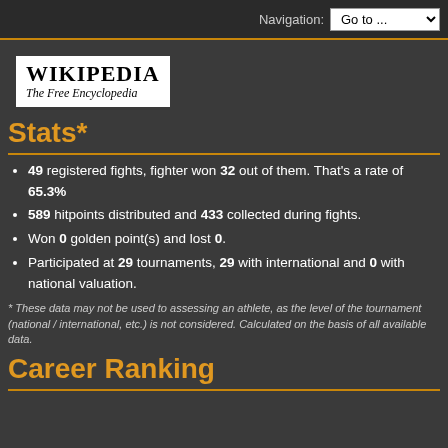Navigation: Go to ...
[Figure (logo): Wikipedia – The Free Encyclopedia logo/wordmark on white background]
Stats*
49 registered fights, fighter won 32 out of them. That's a rate of 65.3%
589 hitpoints distributed and 433 collected during fights.
Won 0 golden point(s) and lost 0.
Participated at 29 tournaments, 29 with international and 0 with national valuation.
* These data may not be used to assessing an athlete, as the level of the tournament (national / international, etc.) is not considered. Calculated on the basis of all available data.
Career Ranking